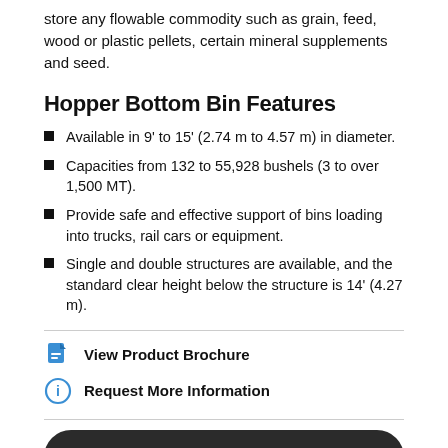store any flowable commodity such as grain, feed, wood or plastic pellets, certain mineral supplements and seed.
Hopper Bottom Bin Features
Available in 9' to 15' (2.74 m to 4.57 m) in diameter.
Capacities from 132 to 55,928 bushels (3 to over 1,500 MT).
Provide safe and effective support of bins loading into trucks, rail cars or equipment.
Single and double structures are available, and the standard clear height below the structure is 14' (4.27 m).
View Product Brochure
Request More Information
FIND A DEALER